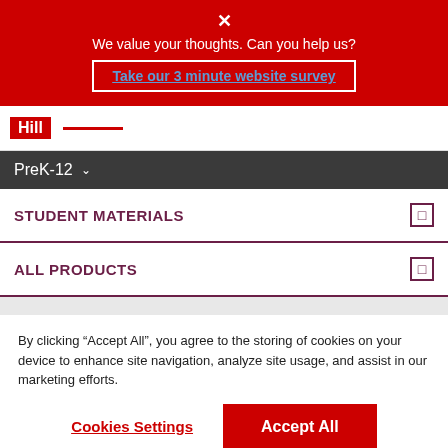[Figure (screenshot): Red banner with close X, text 'We value your thoughts. Can you help us?' and a link 'Take our 3 minute website survey']
[Figure (logo): McGraw Hill logo bar with red 'Hill' badge and red underline]
PreK-12
STUDENT MATERIALS
ALL PRODUCTS
By clicking “Accept All”, you agree to the storing of cookies on your device to enhance site navigation, analyze site usage, and assist in our marketing efforts.
Cookies Settings
Accept All